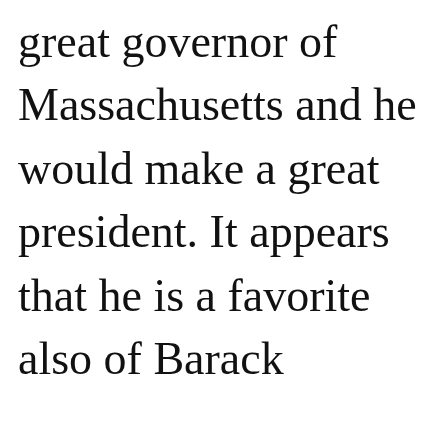great governor of Massachusetts and he would make a great president. It appears that he is a favorite also of Barack